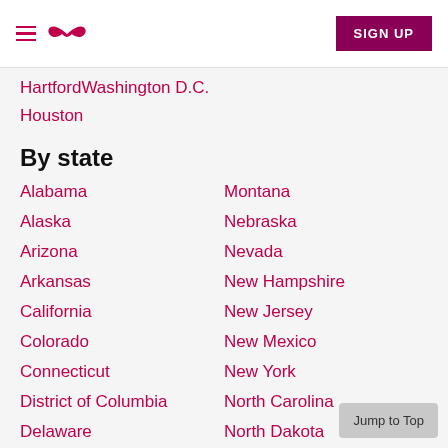SIGN UP
Hartford | Washington D.C.
Houston
By state
Alabama | Montana
Alaska | Nebraska
Arizona | Nevada
Arkansas | New Hampshire
California | New Jersey
Colorado | New Mexico
Connecticut | New York
District of Columbia | North Carolina
Delaware | North Dakota
Florida | Ohio